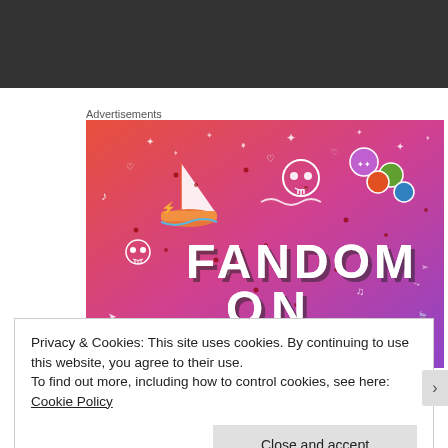[Figure (other): Dark gray/black rectangular bar at top of page]
Advertisements
[Figure (illustration): Tumblr advertisement banner with orange-to-purple gradient background, white doodles (sailboat, skull, dice, musical notes, hearts, arrows), and large bold text reading 'FANDOM ON tumblr']
Privacy & Cookies: This site uses cookies. By continuing to use this website, you agree to their use.
To find out more, including how to control cookies, see here: Cookie Policy
Close and accept